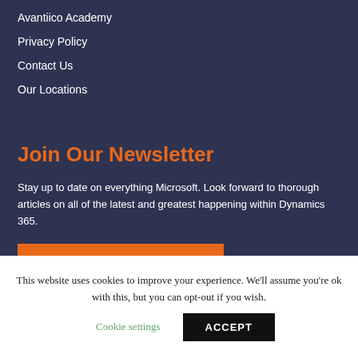Avantiico Academy
Privacy Policy
Contact Us
Our Locations
Join Our Newsletter
Stay up to date on everything Microsoft. Look forward to thorough articles on all of the latest and greatest happening within Dynamics 365.
SUBSCRIBE NOW
This website uses cookies to improve your experience. We'll assume you're ok with this, but you can opt-out if you wish.
Cookie settings
ACCEPT